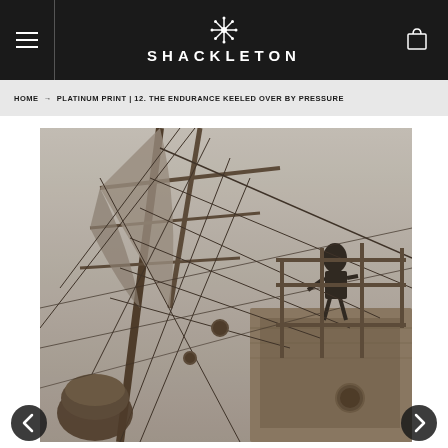SHACKLETON
HOME → PLATINUM PRINT | 12. THE ENDURANCE KEELED OVER BY PRESSURE
[Figure (photo): Black and white historical photograph of the ship Endurance, showing rigging, masts, ropes, and a crew member visible on the tilted deck structure, photographed at an angle suggesting the ship is keeled over under ice pressure.]